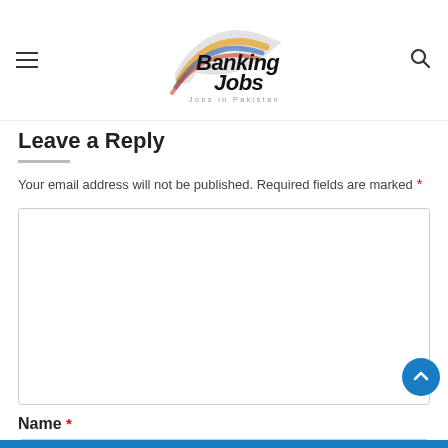Banking Jobs — Jobs in Pakistan
Leave a Reply
Your email address will not be published. Required fields are marked *
[Figure (other): Comment text area input box (empty)]
Name *
[Figure (other): Name input field (empty)]